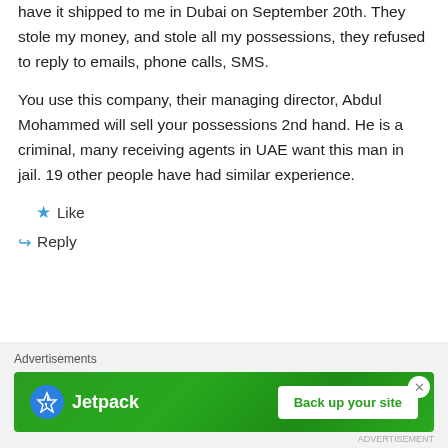have it shipped to me in Dubai on September 20th. They stole my money, and stole all my possessions, they refused to reply to emails, phone calls, SMS.
You use this company, their managing director, Abdul Mohammed will sell your possessions 2nd hand. He is a criminal, many receiving agents in UAE want this man in jail. 19 other people have had similar experience.
★ Like
↪ Reply
Advertisements
[Figure (other): Jetpack advertisement banner with green background showing Jetpack logo and 'Back up your site' button]